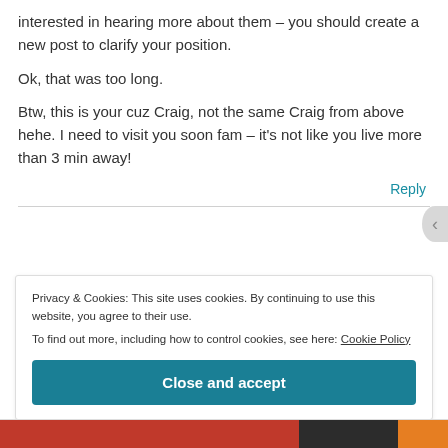interested in hearing more about them – you should create a new post to clarify your position.
Ok, that was too long.
Btw, this is your cuz Craig, not the same Craig from above hehe. I need to visit you soon fam – it's not like you live more than 3 min away!
Reply
Privacy & Cookies: This site uses cookies. By continuing to use this website, you agree to their use.
To find out more, including how to control cookies, see here: Cookie Policy
Close and accept